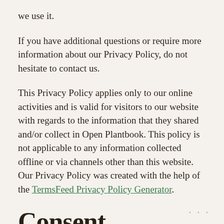we use it.
If you have additional questions or require more information about our Privacy Policy, do not hesitate to contact us.
This Privacy Policy applies only to our online activities and is valid for visitors to our website with regards to the information that they shared and/or collect in Open Plantbook. This policy is not applicable to any information collected offline or via channels other than this website. Our Privacy Policy was created with the help of the TermsFeed Privacy Policy Generator.
Consent